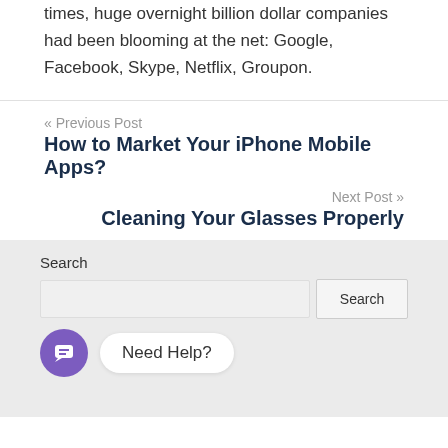times, huge overnight billion dollar companies had been blooming at the net: Google, Facebook, Skype, Netflix, Groupon.
« Previous Post
How to Market Your iPhone Mobile Apps?
Next Post »
Cleaning Your Glasses Properly
Search
Need Help?